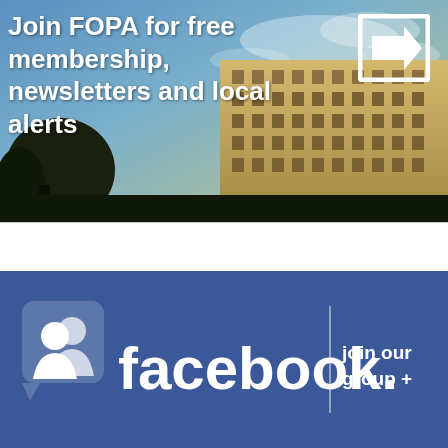[Figure (infographic): Banner image with a sky/building background photo. Text overlay reads 'Join FOPA for free membership, newsletters and local alerts' in bold white, with a white arrow-in-box icon in the top right.]
[Figure (infographic): Facebook blue banner with the Facebook logo (friends icon and 'facebook.' text) on the left, a vertical divider, and 'join our group +' text on the right.]